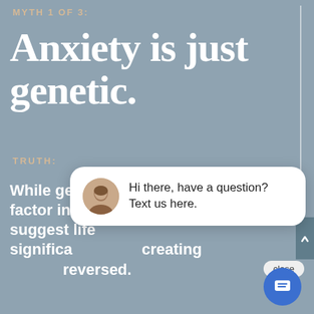MYTH 1 OF 3:
Anxiety is just genetic.
TRUTH:
While genetic predisposition is a factor in anxiety, multiple studies suggest lifestyle factors play a significant role in creating and can be reversed.
[Figure (screenshot): Chat popup overlay with close button, avatar photo of a woman, and text 'Hi there, have a question? Text us here.' with a blue chat button icon below.]